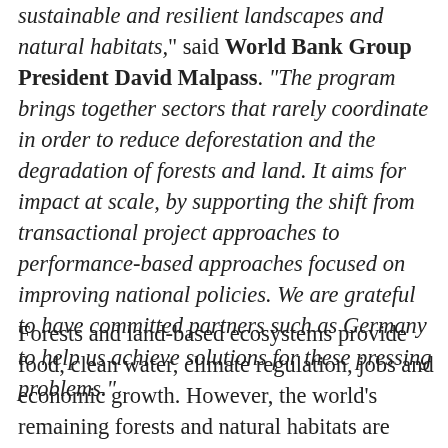sustainable and resilient landscapes and natural habitats," said World Bank Group President David Malpass. "The program brings together sectors that rarely coordinate in order to reduce deforestation and the degradation of forests and land. It aims for impact at scale, by supporting the shift from transactional project approaches to performance-based approaches focused on improving national policies. We are grateful to have committed partners such as Germany to help us achieve solutions for these pressing problems."
Forests and land-based ecosystems provide food, clean water, climate regulation, jobs and economic growth. However, the world's remaining forests and natural habitats are under increasing pressure, often with dire...